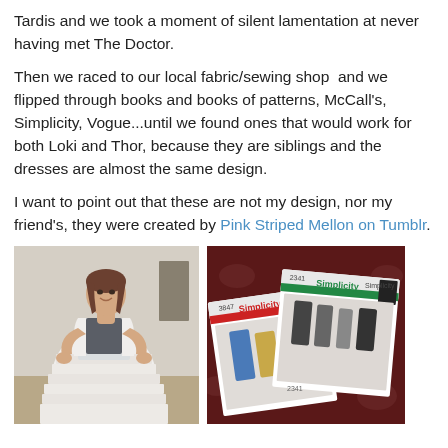Tardis and we took a moment of silent lamentation at never having met The Doctor.
Then we raced to our local fabric/sewing shop  and we flipped through books and books of patterns, McCall's, Simplicity, Vogue...until we found ones that would work for both Loki and Thor, because they are siblings and the dresses are almost the same design.
I want to point out that these are not my design, nor my friend's, they were created by Pink Striped Mellon on Tumblr.
[Figure (photo): A woman standing and posing in a white tiered/layered sheer dress with a dark top underneath, photographed indoors.]
[Figure (photo): Simplicity sewing pattern booklets (numbers 3847 and 2341) spread out on a dark floral background, showing clothing designs.]